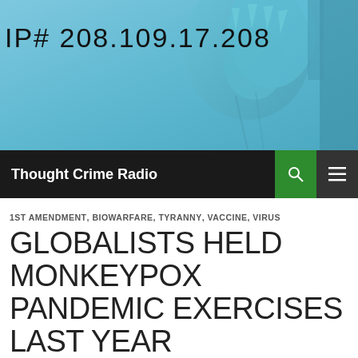[Figure (photo): Statue of Liberty close-up with teal/blue sky background and IP address text overlay]
Thought Crime Radio
1ST AMENDMENT, BIOWARFARE, TYRANNY, VACCINE, VIRUS
GLOBALISTS HELD MONKEYPOX PANDEMIC EXERCISES LAST YEAR
MAY 22, 2022   PATRICIA ROBINETT   LEAVE A COMMENT
“This is so hard to believe,” she says ironically. “If it worked the first time, let’s do it again!” Was thinking today about the polio vaccine with soft tissue monkey cancer in it (Read “Dr. Mary’s